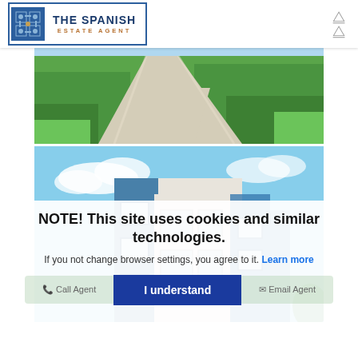THE SPANISH ESTATE AGENT
[Figure (photo): Aerial view of green grass lawn with concrete path walkways]
[Figure (photo): Low angle view of a modern white and blue building exterior against a blue sky with clouds]
NOTE! This site uses cookies and similar technologies.
If you not change browser settings, you agree to it. Learn more
I understand